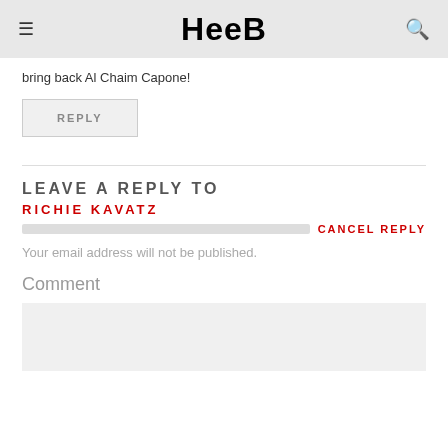HeeB
bring back Al Chaim Capone!
REPLY
LEAVE A REPLY TO
RICHIE KAVATZ
CANCEL REPLY
Your email address will not be published.
Comment